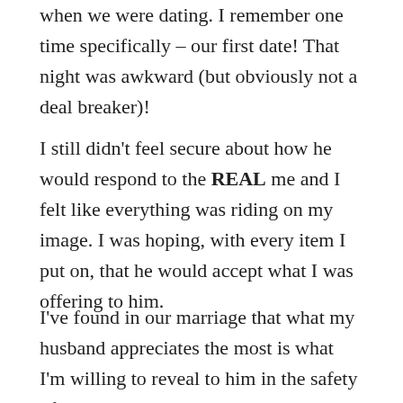when we were dating. I remember one time specifically – our first date! That night was awkward (but obviously not a deal breaker)!
I still didn't feel secure about how he would respond to the REAL me and I felt like everything was riding on my image. I was hoping, with every item I put on, that he would accept what I was offering to him.
I've found in our marriage that what my husband appreciates the most is what I'm willing to reveal to him in the safety of our private moments, rather than what I put on for him in public.